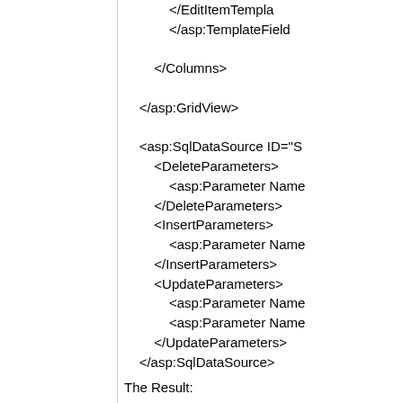</EditItemTemplate>
            </asp:TemplateField>

        </Columns>

    </asp:GridView>

    <asp:SqlDataSource ID="S
        <DeleteParameters>
            <asp:Parameter Name
        </DeleteParameters>
        <InsertParameters>
            <asp:Parameter Name
        </InsertParameters>
        <UpdateParameters>
            <asp:Parameter Name
            <asp:Parameter Name
        </UpdateParameters>
    </asp:SqlDataSource>
The Result: